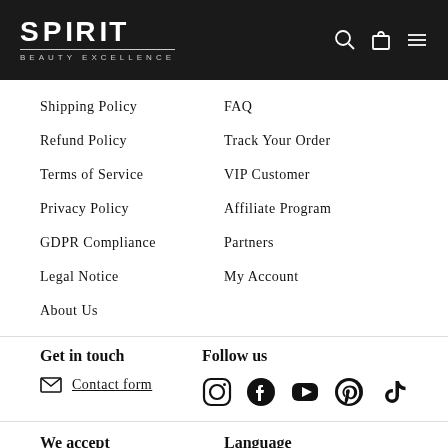SPIRIT BEAUTY EXCELLENCE
Shipping Policy
FAQ
Refund Policy
Track Your Order
Terms of Service
VIP Customer
Privacy Policy
Affiliate Program
GDPR Compliance
Partners
Legal Notice
My Account
About Us
Get in touch
Follow us
Contact form
[Figure (infographic): Social media icons: Instagram, Facebook, YouTube, Pinterest, TikTok]
We accept
Language